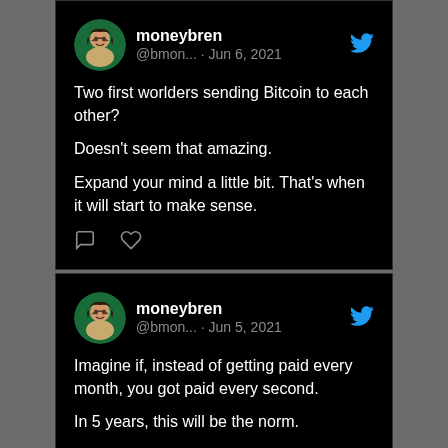[Figure (screenshot): Tweet from moneybren (@bmon...) dated Jun 6, 2021. Text: Two first worlders sending Bitcoin to each other? Doesn't seem that amazing. Expand your mind a little bit. That's when it will start to make sense.]
[Figure (screenshot): Tweet from moneybren (@bmon...) dated Jun 5, 2021. Text: Imagine if, instead of getting paid every month, you got paid every second. In 5 years, this will be the norm. All made possible by crypto.]